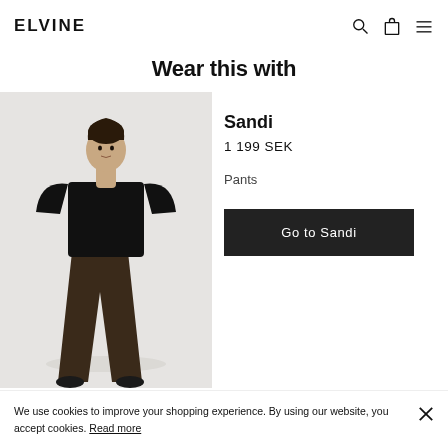ELVINE
Wear this with
[Figure (photo): Woman wearing a black oversized t-shirt and wide-leg dark brown trousers with black shoes, standing against a light background]
Sandi
1 199 SEK
Pants
Go to Sandi
We use cookies to improve your shopping experience. By using our website, you accept cookies. Read more